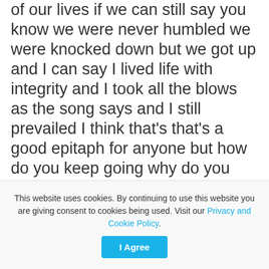of our lives if we can still say you know we were never humbled we were knocked down but we got up and I can say I lived life with integrity and I took all the blows as the song says and I still prevailed I think that's that's a good epitaph for anyone but how do you keep going why do you keep going when the world says everything else is supposed to be opposite there's two sides of pain that I don't think a lot of people really understand right there's there's one side of pain that's the suffering and
This website uses cookies. By continuing to use this website you are giving consent to cookies being used. Visit our Privacy and Cookie Policy.